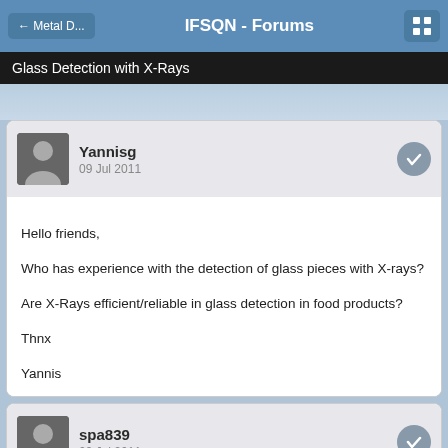IFSQN - Forums
Glass Detection with X-Rays
Yannisg
09 Jul 2011

Hello friends,

Who has experience with the detection of glass pieces with X-rays?

Are X-Rays efficient/reliable in glass detection in food products?

Thnx

Yannis
spa839
09 Jul 2011